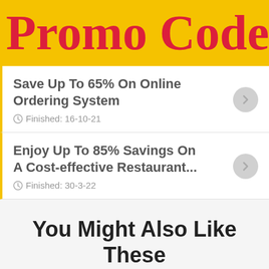Promo Codes
Save Up To 65% On Online Ordering System
Finished: 16-10-21
Enjoy Up To 85% Savings On A Cost-effective Restaurant...
Finished: 30-3-22
You Might Also Like These Coupons
Flat Half Discount On